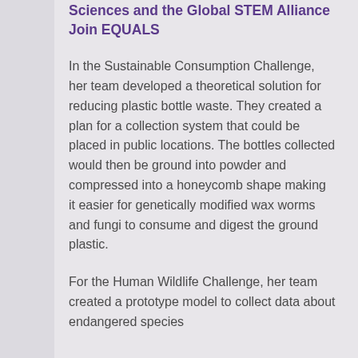Sciences and the Global STEM Alliance Join EQUALS
In the Sustainable Consumption Challenge, her team developed a theoretical solution for reducing plastic bottle waste. They created a plan for a collection system that could be placed in public locations. The bottles collected would then be ground into powder and compressed into a honeycomb shape making it easier for genetically modified wax worms and fungi to consume and digest the ground plastic.
For the Human Wildlife Challenge, her team created a prototype model to collect data about endangered species